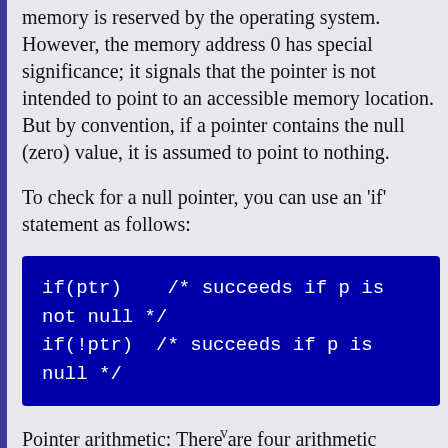memory is reserved by the operating system. However, the memory address 0 has special significance; it signals that the pointer is not intended to point to an accessible memory location. But by convention, if a pointer contains the null (zero) value, it is assumed to point to nothing.
To check for a null pointer, you can use an 'if' statement as follows:
[Figure (other): Code block showing: if(ptr) /* succeeds if p is not null */ and if(!ptr) /* succeeds if p is null */]
Pointer arithmetic: There are four arithmetic operators that can be used in pointers: ++, --, +, -
Array of pointers: You can define arrays to hold a number
v